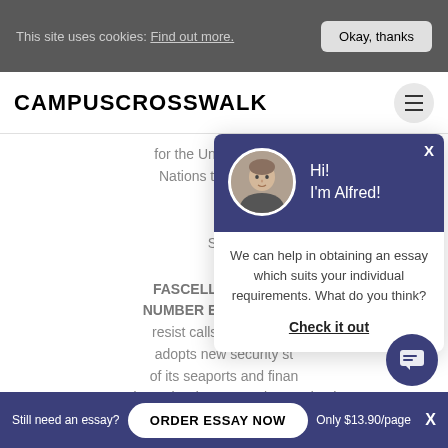This site uses cookies: Find out more. Okay, thanks
CAMPUSCROSSWALK
for the United States b Nations that agree to pri
S. po
FASCELL NORTH-SOU NUMBER EIGHT 5 In prin resist calls by the Unite adopts new security sta of its seaports and finan cargo and traveler documentation, and to host U inspectors. However, the price to be paid is likely to be quickly in the pocketbook, as the United States takes steps
[Figure (screenshot): Chat popup with avatar of a man named Alfred, offering essay help. Text reads: Hi! I'm Alfred! We can help in obtaining an essay which suits your individual requirements. What do you think? Check it out]
Still need an essay? ORDER ESSAY NOW Only $13.90/page X